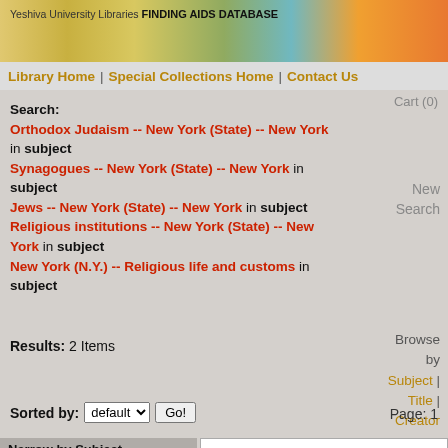Yeshiva University Libraries FINDING AIDS DATABASE
Library Home | Special Collections Home | Contact Us
Cart (0)
Search: Orthodox Judaism -- New York (State) -- New York in subject
Synagogues -- New York (State) -- New York in subject
Jews -- New York (State) -- New York in subject
Religious institutions -- New York (State) -- New York in subject
New York (N.Y.) -- Religious life and customs in subject
New Search
Browse by Subject | Title | Creator
Results: 2 Items
Sorted by: default  Go!   Page: 1
Narrow by Subject
Harlem (New York, N.Y.) (1)
Jewish businesspeople -- New York (State) -- New York (1)
Jewish day schools (1)
| Field | Value | Note |
| --- | --- | --- |
| Creator: | Institutional Synagogue | Requires cookie* |
| Title: | Records of the Institutional Synagogue |  |
| Dates: | 1917-1986; Bulk Dates: 1928-1943 |  |